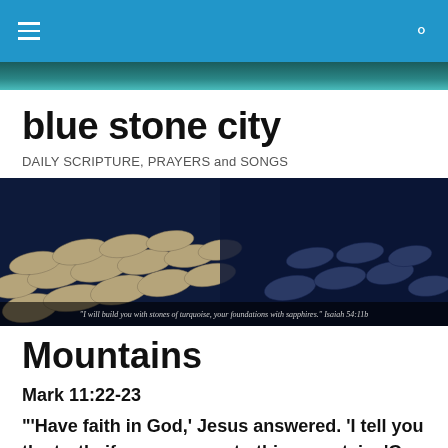blue stone city — navigation bar
[Figure (photo): Hero banner image showing a cobblestone path with stones in cream and dark blue tones, with caption: "I will build you with stones of turquoise, your foundations with sapphires." Isaiah 54:11b]
blue stone city
DAILY SCRIPTURE, PRAYERS and SONGS
Mountains
Mark 11:22-23
"'Have faith in God,' Jesus answered.  'I tell you the truth, if anyone says to this mountain, 'Go, throw yourself into the sea,' and does not doubt in his heart